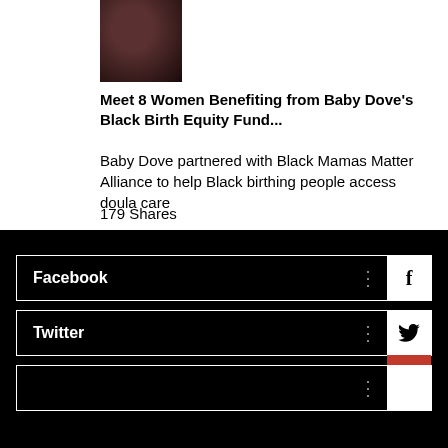[Figure (photo): Thumbnail photo of a woman's face, dark toned]
Meet 8 Women Benefiting from Baby Dove's Black Birth Equity Fund...
Baby Dove partnered with Black Mamas Matter Alliance to help Black birthing people access doula care
179 Shares
Facebook
Twitter